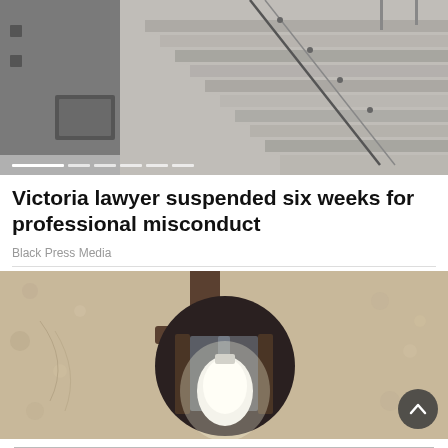[Figure (photo): Black and white photo of outdoor stone stairs with metal railing, skateboard trick being performed at top]
Victoria lawyer suspended six weeks for professional misconduct
Black Press Media
[Figure (photo): Close-up photo of an outdoor wall lantern light fixture with a glowing bulb, mounted on a textured stucco wall]
[Figure (other): Big O Tires advertisement. Text: All Government precautions are being taken to keep our customers, staff & shop safe.]